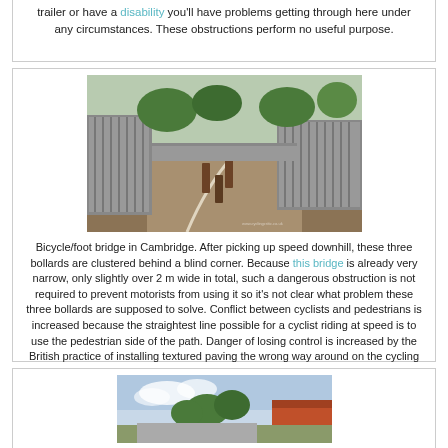trailer or have a disability you'll have problems getting through here under any circumstances. These obstructions perform no useful purpose.
[Figure (photo): Bicycle/foot bridge in Cambridge showing three bollards clustered behind a blind corner, with metal fencing on both sides of a narrow curved path.]
Bicycle/foot bridge in Cambridge. After picking up speed downhill, these three bollards are clustered behind a blind corner. Because this bridge is already very narrow, only slightly over 2 m wide in total, such a dangerous obstruction is not required to prevent motorists from using it so it's not clear what problem these three bollards are supposed to solve. Conflict between cyclists and pedestrians is increased because the straightest line possible for a cyclist riding at speed is to use the pedestrian side of the path. Danger of losing control is increased by the British practice of installing textured paving the wrong way around on the cycling side of the path.
[Figure (photo): Partial view of another cycling/pedestrian area, showing a path, trees, and a building.]